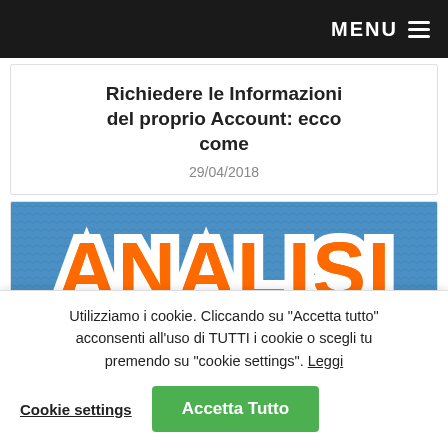MENU
Richiedere le Informazioni del proprio Account: ecco come
29/04/2018
[Figure (illustration): Logo graphic with bold orange outlined text 'ANALISI' over a blue textured background, with partial text 'DEI RISCHI' appearing below]
Utilizziamo i cookie. Cliccando su “Accetta tutto” acconsenti all’uso di TUTTI i cookie o scegli tu premendo su "cookie settings". Leggi
Cookie settings
Accetta Tutto